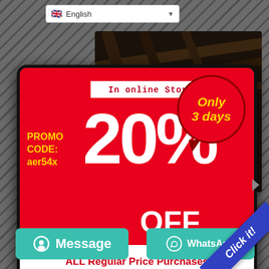[Figure (screenshot): Language selector dropdown showing English with UK flag]
[Figure (photo): Dark background product image, appears to be a blurred market/store scene]
[Figure (infographic): Red promotional popup ad: 20% OFF In online Store, Only 3 days, PROMO CODE: aer54x, ALL Regular Price Purchases]
PROMO CODE: aer54x
20% OFF
Only 3 days
In online Store
ALL Regular Price Purchases
Message
WhatsApp
Click it!